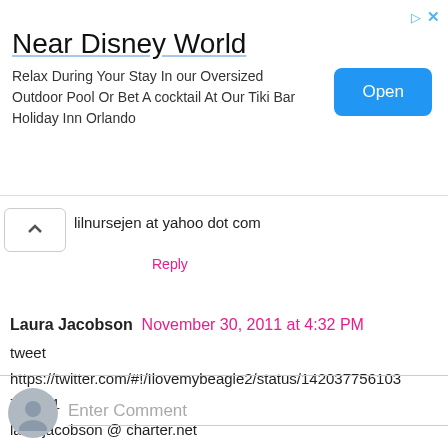[Figure (screenshot): Advertisement banner for Holiday Inn Orlando near Disney World with an Open button]
lilnursejen at yahoo dot com
Reply
Laura Jacobson  November 30, 2011 at 4:32 PM
tweet
https://twitter.com/#!/Ilovemybeagle2/status/142037756103761921
landfjacobson @ charter.net
Reply
Enter Comment